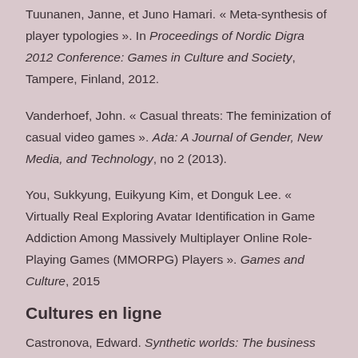Tuunanen, Janne, et Juno Hamari. « Meta-synthesis of player typologies ». In Proceedings of Nordic Digra 2012 Conference: Games in Culture and Society, Tampere, Finland, 2012.
Vanderhoef, John. « Casual threats: The feminization of casual video games ». Ada: A Journal of Gender, New Media, and Technology, no 2 (2013).
You, Sukkyung, Euikyung Kim, et Donguk Lee. « Virtually Real Exploring Avatar Identification in Game Addiction Among Massively Multiplayer Online Role-Playing Games (MMORPG) Players ». Games and Culture, 2015
Cultures en ligne
Castronova, Edward. Synthetic worlds: The business and